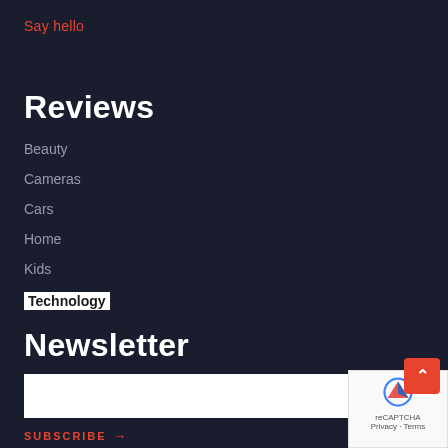Say hello
Reviews
Beauty
Cameras
Cars
Home
Kids
Technology
Newsletter
SUBSCRIBE →